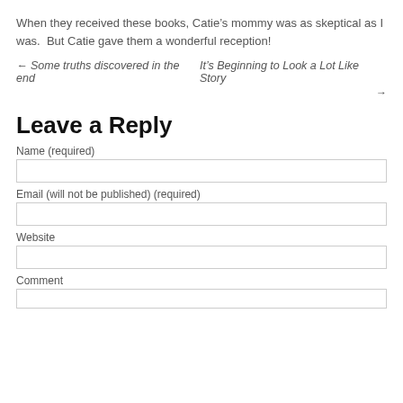When they received these books, Catie’s mommy was as skeptical as I was.  But Catie gave them a wonderful reception!
← Some truths discovered in the end    It’s Beginning to Look a Lot Like Story →
Leave a Reply
Name (required)
Email (will not be published) (required)
Website
Comment